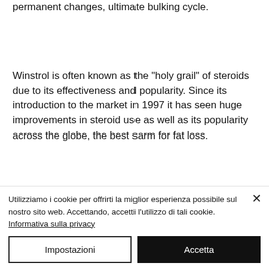permanent changes, ultimate bulking cycle.
Winstrol is often known as the "holy grail" of steroids due to its effectiveness and popularity. Since its introduction to the market in 1997 it has seen huge improvements in steroid use as well as its popularity across the globe, the best sarm for fat loss.
While it is not usually taken orally its absorption by the human body is relatively good and Winstrol is usually
Utilizziamo i cookie per offrirti la miglior esperienza possibile sul nostro sito web. Accettando, accetti l'utilizzo di tali cookie. Informativa sulla privacy